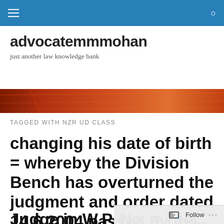advocatemmmohan — just another law knowledge bank
TAGGED WITH NZR UD CLASS
changing his date of birth = whereby the Division Bench has overturned the judgment and order dated 14.6.2004 passed by the learned single Judge in W.P. No. = 714...